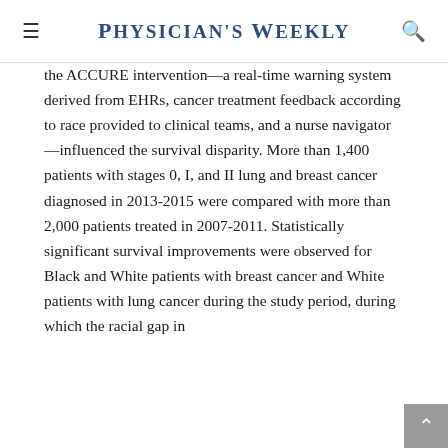Physician's Weekly
the ACCURE intervention—a real-time warning system derived from EHRs, cancer treatment feedback according to race provided to clinical teams, and a nurse navigator—influenced the survival disparity. More than 1,400 patients with stages 0, I, and II lung and breast cancer diagnosed in 2013-2015 were compared with more than 2,000 patients treated in 2007-2011. Statistically significant survival improvements were observed for Black and White patients with breast cancer and White patients with lung cancer during the study period, during which the racial gap in